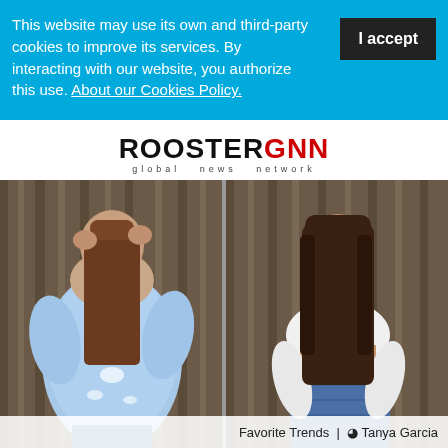This website may use its own and third-party cookies to improve its services. By interacting with our website, you authorize this use. About our Cookies Policy.
[Figure (logo): ROOSTERGNN global news network logo — ROOSTER in black bold uppercase, GNN in red bold uppercase, 'global news network' in small spaced tracking below]
[Figure (photo): Two-panel photo: left panel shows a young woman from behind wearing a distressed denim jacket with long brown hair; right panel shows a smiling young woman with long straight brown hair wearing a white cropped long-sleeve top and high-waist denim skirt, leaning against a wooden wall]
Favorite Trends | ⊙ Tanya Garcia